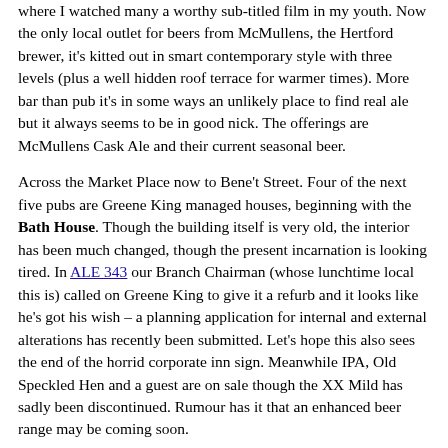where I watched many a worthy sub-titled film in my youth. Now the only local outlet for beers from McMullens, the Hertford brewer, it's kitted out in smart contemporary style with three levels (plus a well hidden roof terrace for warmer times). More bar than pub it's in some ways an unlikely place to find real ale but it always seems to be in good nick. The offerings are McMullens Cask Ale and their current seasonal beer.
Across the Market Place now to Bene't Street. Four of the next five pubs are Greene King managed houses, beginning with the Bath House. Though the building itself is very old, the interior has been much changed, though the present incarnation is looking tired. In ALE 343 our Branch Chairman (whose lunchtime local this is) called on Greene King to give it a refurb and it looks like he's got his wish – a planning application for internal and external alterations has recently been submitted. Let's hope this also sees the end of the horrid corporate inn sign. Meanwhile IPA, Old Speckled Hen and a guest are on sale though the XX Mild has sadly been discontinued. Rumour has it that an enhanced beer range may be coming soon.
A few doors down is, arguably, the city's most famous pub, the Eagle. Its main claims to fame are as the place where Crick and Watson first announced their discovery of the double helix, the 'secret of life', the Airmen's Bar with its World War Two graffiti and the historic galleried courtyard. Closed in the late 1980s for